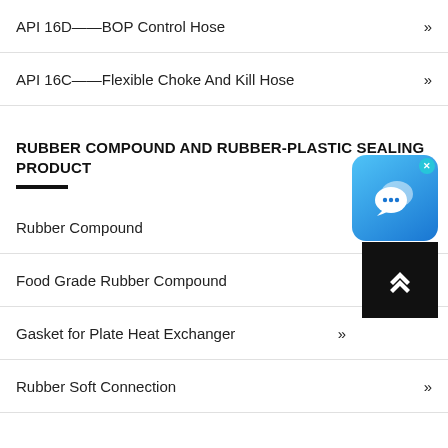API 16D——BOP Control Hose »
API 16C——Flexible Choke And Kill Hose »
RUBBER COMPOUND AND RUBBER-PLASTIC SEALING PRODUCT
Rubber Compound
Food Grade Rubber Compound »
Gasket for Plate Heat Exchanger »
Rubber Soft Connection »
[Figure (illustration): Blue chat/messaging app icon widget with speech bubbles and an X close button]
[Figure (illustration): Black scroll-to-top button with double chevron up arrow]